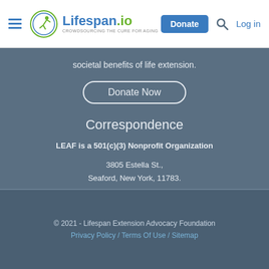Lifespan.io — navigation header with hamburger menu, logo, Donate button, search icon, Log in
societal benefits of life extension.
Donate Now
Correspondence
LEAF is a 501(c)(3) Nonprofit Organization
3805 Estella St., Seaford, New York, 11783.
Tax EIN: 46-5328762
E-mail: info@lifespan.io
© 2021 - Lifespan Extension Advocacy Foundation
Privacy Policy / Terms Of Use / Sitemap